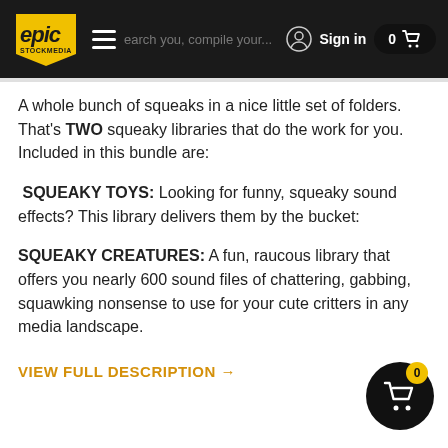Epic Stock Media — Sign in — Cart 0
A whole bunch of squeaks in a nice little set of folders. That's TWO squeaky libraries that do the work for you. Included in this bundle are:
SQUEAKY TOYS: Looking for funny, squeaky sound effects? This library delivers them by the bucket:
SQUEAKY CREATURES: A fun, raucous library that offers you nearly 600 sound files of chattering, gabbing, squawking nonsense to use for your cute critters in any media landscape.
VIEW FULL DESCRIPTION →